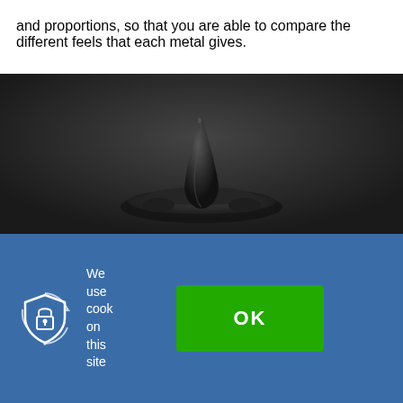and proportions, so that you are able to compare the different feels that each metal gives.
[Figure (photo): A dark metallic or ferrofluid-like spike/droplet object on a dark background, resembling a magnetic ferrofluid peak. The object is black and sits on a dark surface against a very dark grey background.]
[Figure (infographic): Cookie consent banner with blue background. Contains a security/lock shield icon on the left, text 'We use cook on this site' in white, and a green OK button on the right.]